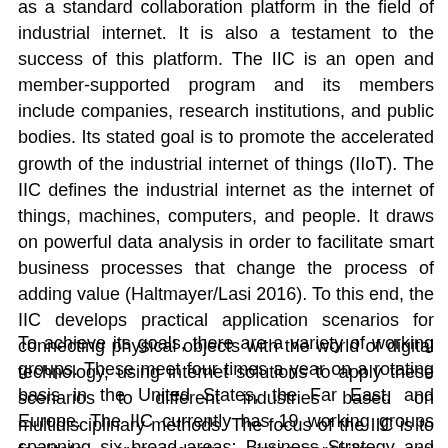as a standard collaboration platform in the field of industrial internet. It is also a testament to the success of this platform. The IIC is an open and member-supported program and its members include companies, research institutions, and public bodies. Its stated goal is to promote the accelerated growth of the industrial internet of things (IIoT). The IIC defines the industrial internet as the internet of things, machines, computers, and people. It draws on powerful data analysis in order to facilitate smart business processes that change the process of adding value (Haltmayer/Lasi 2016). To this end, the IIC develops practical application scenarios for connecting physical objects with the world of digital technology, using internet solutions to apply these scenarios to different industries based on multidisciplinary methods. The focus of the IIC is to facilitate cross-industry interoperability and interconnectivity, also taking into account multidisciplinary requirements such as security, trust, and reliability.
To achieve its goals, there are a variety of working groups. These meet four times a year on a rotating basis in the United States, the Far East, and Europe. The IIC currently has 19 working groups spanning six broad areas: Business Strategy and Solution Lifecycle,